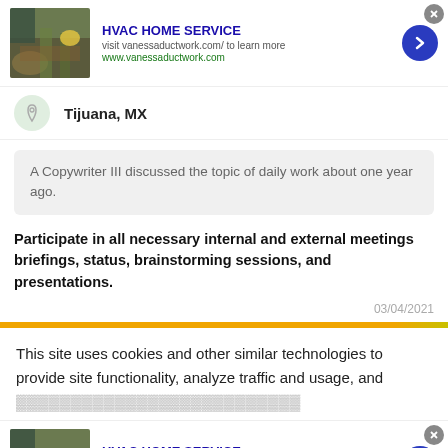[Figure (screenshot): HVAC Home Service advertisement banner with photo of hands planting flowers, blue arrow button, close X button]
Tijuana, MX
A Copywriter III discussed the topic of daily work about one year ago.
Participate in all necessary internal and external meetings briefings, status, brainstorming sessions, and presentations.
03/04/2021
This site uses cookies and other similar technologies to provide site functionality, analyze traffic and usage, and
[Figure (screenshot): HVAC Home Service advertisement banner repeated at bottom with photo of hands planting flowers, blue arrow button, close X button]